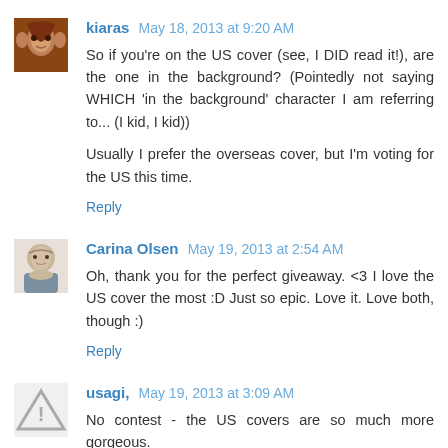kiaras  May 18, 2013 at 9:20 AM
So if you're on the US cover (see, I DID read it!), are the one in the background? (Pointedly not saying WHICH 'in the background' character I am referring to... (I kid, I kid))

Usually I prefer the overseas cover, but I'm voting for the US this time.
Reply
Carina Olsen  May 19, 2013 at 2:54 AM
Oh, thank you for the perfect giveaway. <3 I love the US cover the most :D Just so epic. Love it. Love both, though :)
Reply
usagi,  May 19, 2013 at 3:09 AM
No contest - the US covers are so much more gorgeous.
Reply